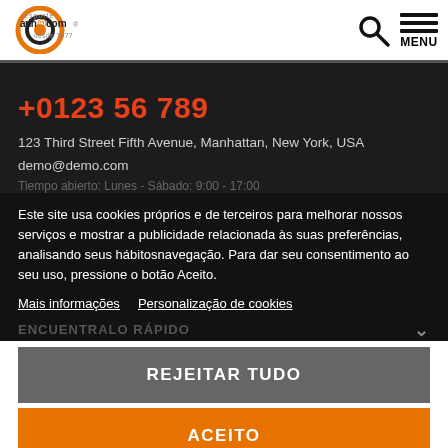[Figure (logo): Esporte Aringocom logo with orange circular target icon and text 'arin@com' and 'desde 1977']
[Figure (other): Search (magnifying glass) icon and hamburger menu with MENU label]
+0123 56 789
123 Third Street Fifth Avenue, Manhattan, New York, USA
demo@demo.com
Tiempo abierto: Lunes - Sábado: 9:00 - 17:00
Este site usa cookies próprios e de terceiros para melhorar nossos serviços e mostrar a publicidade relacionada às suas preferências, analisando seus hábitosnavegação. Para dar seu consentimento ao seu uso, pressione o botão Aceito.
Mais informações   Personalização de cookies
ENCUENTRALO RÁPIDO
REJEITAR TUDO
ACEITO